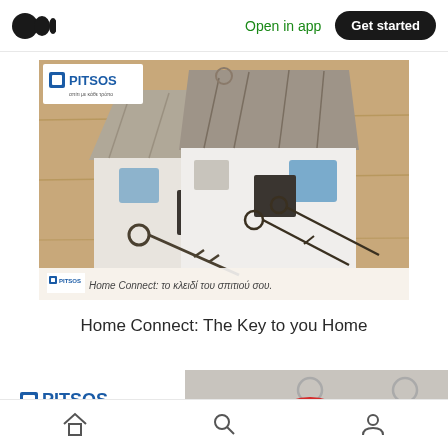Open in app | Get started
[Figure (photo): PITSOS branded photo showing crocheted house-shaped key holders with old-fashioned keys on a wooden surface. Text overlay: 'Home Connect: το κλειδί του σπιτιού σου.']
Home Connect: The Key to you Home
[Figure (photo): PITSOS branded photo showing colorful crocheted mushroom-house key rings (red and pink) on a grey surface.]
Home | Search | Profile